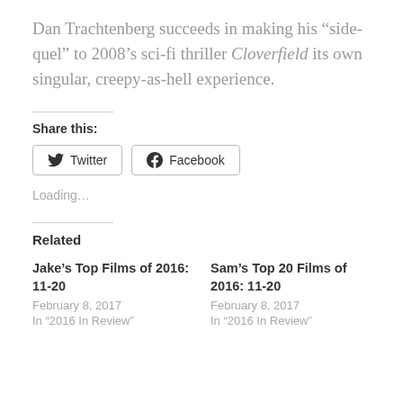Dan Trachtenberg succeeds in making his “side-quel” to 2008’s sci-fi thriller Cloverfield its own singular, creepy-as-hell experience.
Share this:
[Figure (other): Twitter and Facebook social share buttons]
Loading...
Related
Jake’s Top Films of 2016: 11-20
February 8, 2017
In "2016 In Review"
Sam’s Top 20 Films of 2016: 11-20
February 8, 2017
In "2016 In Review"